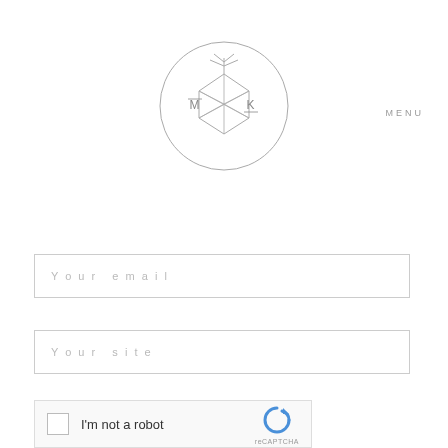[Figure (logo): Circular logo with geometric pineapple shape and letters M and K with overline and underline]
MENU
[Figure (other): Your email input field placeholder]
[Figure (other): Your site input field placeholder]
[Figure (other): reCAPTCHA widget with checkbox and I'm not a robot text]